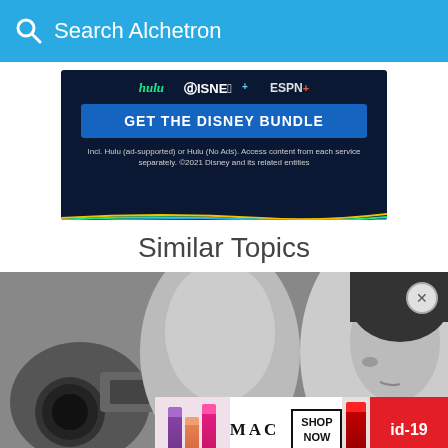Search Alchetron
[Figure (screenshot): Disney Bundle advertisement showing Hulu, Disney+, and ESPN+ logos with 'GET THE DISNEY BUNDLE' button and fine print text about Hulu and 2021 Disney copyright.]
Similar Topics
[Figure (photo): Black and white photo showing a person holding a camera and another person's face in profile on the right side.]
[Figure (screenshot): MAC cosmetics advertisement showing lipsticks in purple, pink and red colors with MAC logo, SHOP NOW button and id-19 badge.]